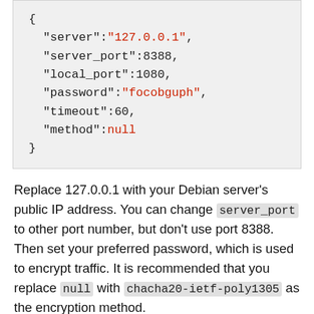[Figure (screenshot): Code block showing JSON configuration with fields: server (127.0.0.1 in red), server_port (8388), local_port (1080), password (focobguph in red), timeout (60), method (null in red)]
Replace 127.0.0.1 with your Debian server's public IP address. You can change server_port to other port number, but don't use port 8388. Then set your preferred password, which is used to encrypt traffic. It is recommended that you replace null with chacha20-ietf-poly1305 as the encryption method. Here's an example of my configuration.